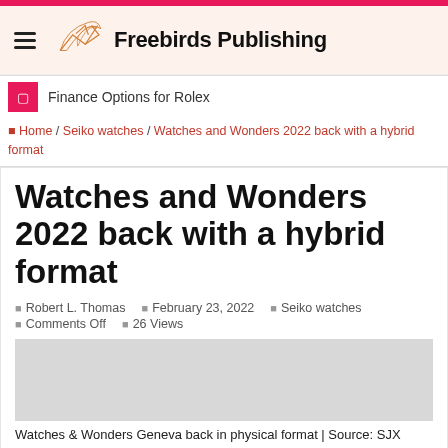Freebirds Publishing
Finance Options for Rolex
Home / Seiko watches / Watches and Wonders 2022 back with a hybrid format
Watches and Wonders 2022 back with a hybrid format
Robert L. Thomas | February 23, 2022 | Seiko watches | Comments Off | 26 Views
Watches & Wonders Geneva back in physical format | Source: SJX
Fancy Watches